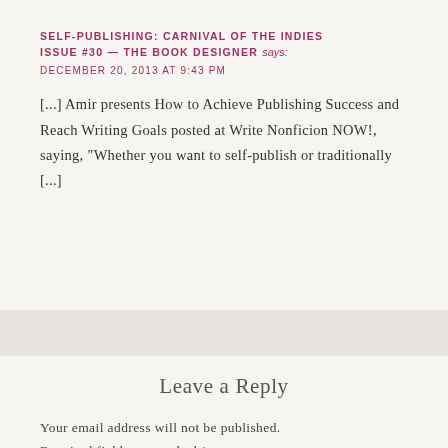SELF-PUBLISHING: CARNIVAL OF THE INDIES ISSUE #30 — THE BOOK DESIGNER says:
DECEMBER 20, 2013 AT 9:43 PM
[...] Amir presents How to Achieve Publishing Success and Reach Writing Goals posted at Write Nonficion NOW!, saying, "Whether you want to self-publish or traditionally [...]
Leave a Reply
Your email address will not be published. Required fields are marked *